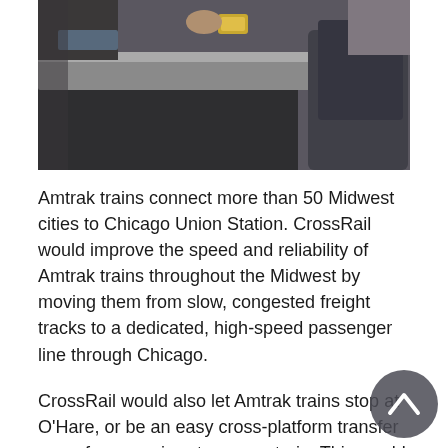[Figure (photo): A photograph of people sitting at a table, showing a person's lap and hands with a gold watch, with seating and a table surface visible in an indoor setting.]
Amtrak trains connect more than 50 Midwest cities to Chicago Union Station. CrossRail would improve the speed and reliability of Amtrak trains throughout the Midwest by moving them from slow, congested freight tracks to a dedicated, high-speed passenger line through Chicago.
CrossRail would also let Amtrak trains stop at O'Hare, or be an easy cross-platform transfer away from an airport express train. This would immediately provide better travel options to hundreds of thousands of people. Most Midwest cities served by Amtrak have no air service at all. In others, Amtrak is more frequent than existing feeder flights. In any case, a fast, reliable train is more economical and comfortable than a